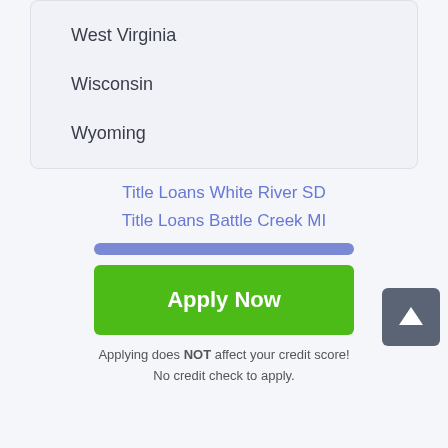West Virginia
Wisconsin
Wyoming
Title Loans White River SD
Title Loans Battle Creek MI
Apply Now
Applying does NOT affect your credit score! No credit check to apply.